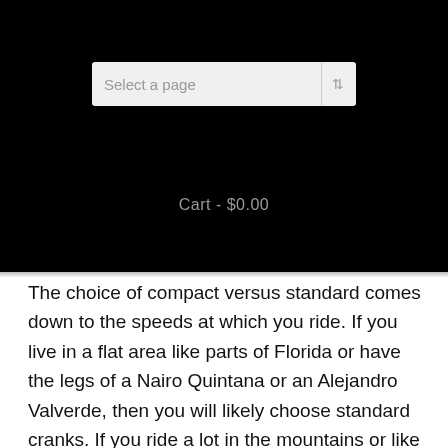Select a page | Cart - $0.00
The choice of compact versus standard comes down to the speeds at which you ride. If you live in a flat area like parts of Florida or have the legs of a Nairo Quintana or an Alejandro Valverde, then you will likely choose standard cranks. If you ride a lot in the mountains or like to take it at little easier a compact crank will suit you better.
To drill down into the details, use a tool like gear-calculator.com. It's great at helping you figure out at which speed you will bottom out or spin out with your combination of cranks and cassette. An